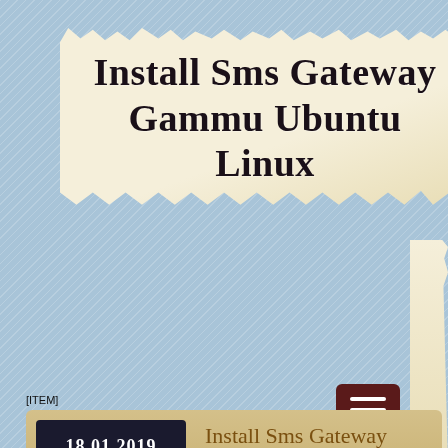Install Sms Gateway Gammu Ubuntu Linux
[Figure (screenshot): Hamburger menu button with three horizontal white lines on dark red background]
[ITEM]
18.01.2019
Install Sms Gateway